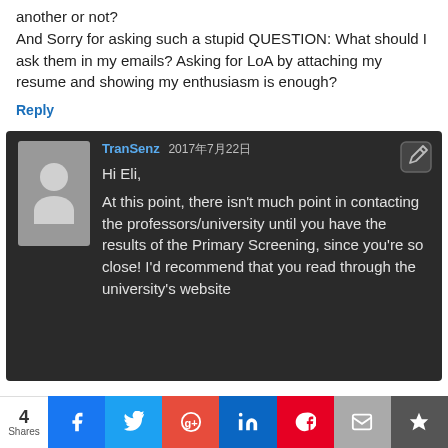another or not?
And Sorry for asking such a stupid QUESTION: What should I ask them in my emails? Asking for LoA by attaching my resume and showing my enthusiasm is enough?
Reply
TranSenz 2017年7月22日
Hi Eli,
At this point, there isn't much point in contacting the professors/university until you have the results of the Primary Screening, since you're so close! I'd recommend that you read through the university's website
4 Shares